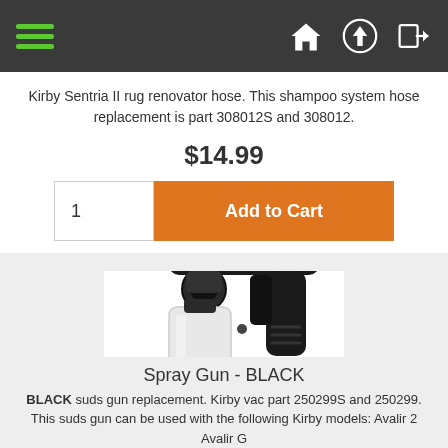Navigation bar with hamburger menu and icons
Kirby Sentria II rug renovator hose. This shampoo system hose replacement is part 308012S and 308012.
$14.99
1  Add to Cart
[Figure (photo): Black Kirby spray gun with white detergent bottle container attachment]
Spray Gun - BLACK
BLACK suds gun replacement. Kirby vac part 250299S and 250299. This suds gun can be used with the following Kirby models: Avalir 2 Avalir G